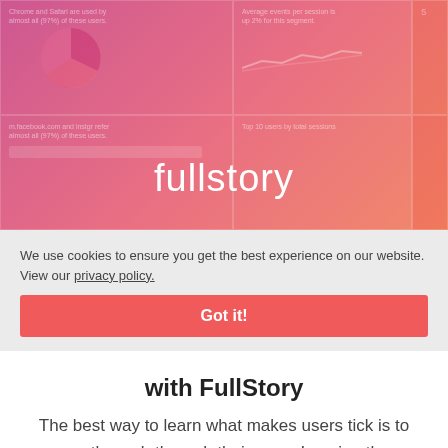[Figure (screenshot): FullStory dashboard screenshot with pink/magenta gradient overlay showing analytics panels and pie chart, with 'fullstory' logo text centered in white]
We use cookies to ensure you get the best experience on our website. View our privacy policy.
Got it!
with FullStory
The best way to learn what makes users tick is to see the web through their eyes. Imagine the